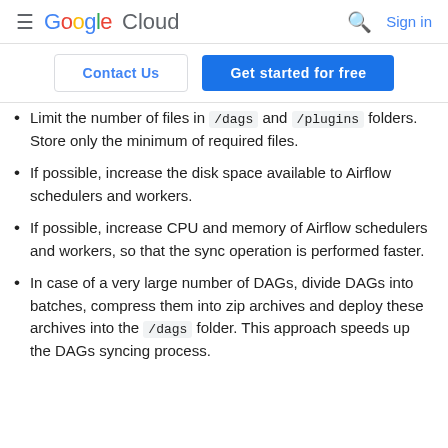Google Cloud  Sign in
Contact Us | Get started for free
Limit the number of files in /dags and /plugins folders. Store only the minimum of required files.
If possible, increase the disk space available to Airflow schedulers and workers.
If possible, increase CPU and memory of Airflow schedulers and workers, so that the sync operation is performed faster.
In case of a very large number of DAGs, divide DAGs into batches, compress them into zip archives and deploy these archives into the /dags folder. This approach speeds up the DAGs syncing process.